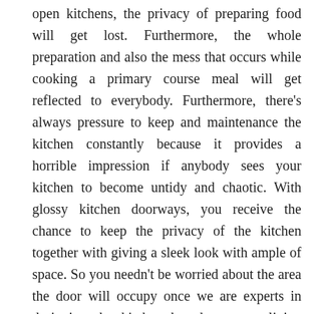open kitchens, the privacy of preparing food will get lost. Furthermore, the whole preparation and also the mess that occurs while cooking a primary course meal will get reflected to everybody. Furthermore, there's always pressure to keep and maintenance the kitchen constantly because it provides a horrible impression if anybody sees your kitchen to become untidy and chaotic. With glossy kitchen doorways, you receive the chance to keep the privacy of the kitchen together with giving a sleek look with ample of space. So you needn't be worried about the area the door will occupy once we are experts in designing the kitchen based on your living space specifications.
What sort of Designer Kitchens can be obtained?
The designer kitchen worktops and kitchen doorways is determined by the flavour and preference from the client. There might be one section for kids in which the tiles and